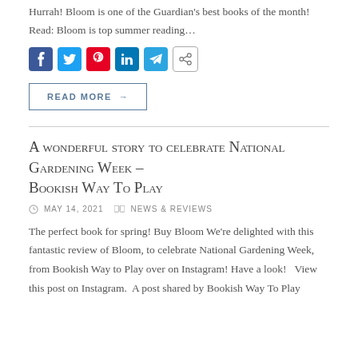Hurrah! Bloom is one of the Guardian's best books of the month! Read: Bloom is top summer reading…
[Figure (other): Social share buttons: Facebook, Twitter, Pinterest, LinkedIn, Telegram, Share]
READ MORE →
A wonderful story to celebrate National Gardening Week – Bookish Way To Play
MAY 14, 2021  NEWS & REVIEWS
The perfect book for spring! Buy Bloom We're delighted with this fantastic review of Bloom, to celebrate National Gardening Week, from Bookish Way to Play over on Instagram! Have a look!  View this post on Instagram. A post shared by Bookish Way To Play